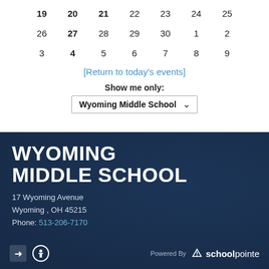| 19 | 20 | 21 | 22 | 23 | 24 | 25 |
| 26 | 27 | 28 | 29 | 30 | 1 | 2 |
| 3 | 4 | 5 | 6 | 7 | 8 | 9 |
[Return to today's events]
Show me only:
Wyoming Middle School
WYOMING MIDDLE SCHOOL
17 Wyoming Avenue
Wyoming , OH 45215
Phone: 513-206-7170
Powered By schoolpointe